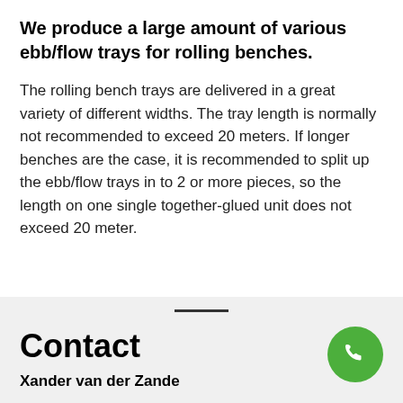We produce a large amount of various ebb/flow trays for rolling benches.
The rolling bench trays are delivered in a great variety of different widths. The tray length is normally not recommended to exceed 20 meters. If longer benches are the case, it is recommended to split up the ebb/flow trays in to 2 or more pieces, so the length on one single together-glued unit does not exceed 20 meter.
Contact
Xander van der Zande